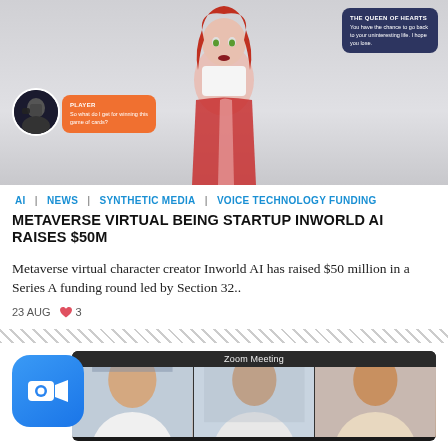[Figure (illustration): Metaverse virtual character (red-haired 3D avatar in red and white outfit) with chat bubbles. Dark blue bubble from 'THE QUEEN OF HEARTS' saying 'You have the chance to go back to your uninteresting life. I hope you lose.' Orange bubble from 'PLAYER' saying 'So what do I get for winning this game of cards?' Small circular player avatar on lower left.]
AI | NEWS | SYNTHETIC MEDIA | VOICE TECHNOLOGY FUNDING
METAVERSE VIRTUAL BEING STARTUP INWORLD AI RAISES $50M
Metaverse virtual character creator Inworld AI has raised $50 million in a Series A funding round led by Section 32..
23 AUG  ♥ 3
[Figure (screenshot): Zoom Meeting interface with the Zoom app logo (blue rounded square with white camera icon) overlapping a dark Zoom meeting window showing 'Zoom Meeting' title bar and three participant video panels.]